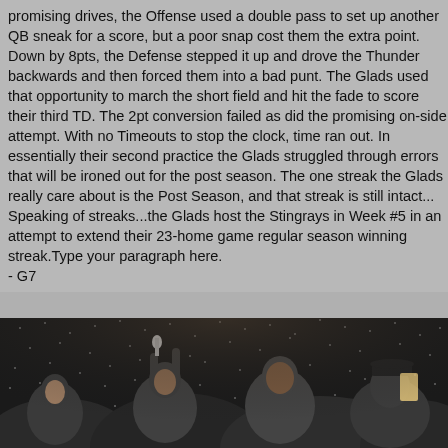promising drives, the Offense used a double pass to set up another QB sneak for a score, but a poor snap cost them the extra point. Down by 8pts, the Defense stepped it up and drove the Thunder backwards and then forced them into a bad punt. The Glads used that opportunity to march the short field and hit the fade to score their third TD. The 2pt conversion failed as did the promising on-side attempt. With no Timeouts to stop the clock, time ran out. In essentially their second practice the Glads struggled through errors that will be ironed out for the post season. The one streak the Glads really care about is the Post Season, and that streak is still intact... Speaking of streaks...the Glads host the Stingrays in Week #5 in an attempt to extend their 23-home game regular season winning streak.Type your paragraph here.
- G7
[Figure (photo): A nighttime football celebration photo showing players and fans in the rain, one holding up what appears to be a trophy or ball, crowd celebrating.]